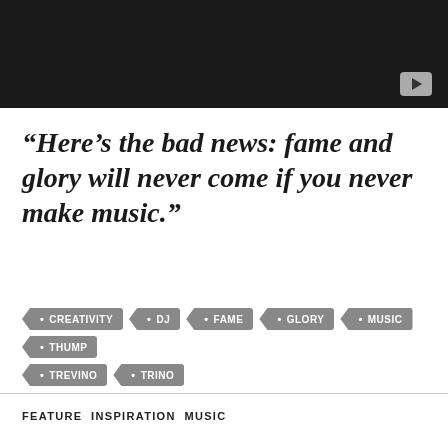[Figure (screenshot): Dark/black video thumbnail with a YouTube-style play button in the bottom-right corner]
“Here’s the bad news: fame and glory will never come if you never make music.”
CREATIVITY
DJ
FAME
GLORY
MUSIC
THUMP
TREVINO
TRINO
FEATURE  INSPIRATION  MUSIC